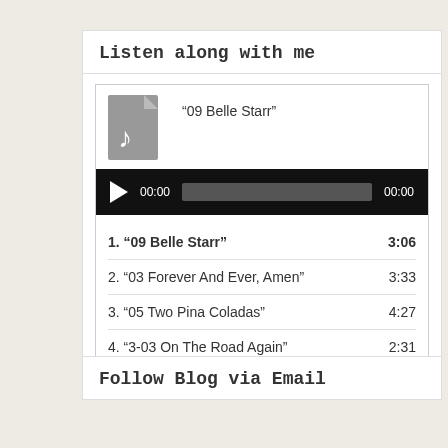Listen along with me
[Figure (other): Audio player widget with music file icon showing '09 Belle Starr', a black audio control bar with play button and progress track showing 00:00 timestamps]
1. “09 Belle Starr”  3:06
2. “03 Forever And Ever, Amen”  3:33
3. “05 Two Pina Coladas”  4:27
4. “3-03 On The Road Again”  2:31
Follow Blog via Email